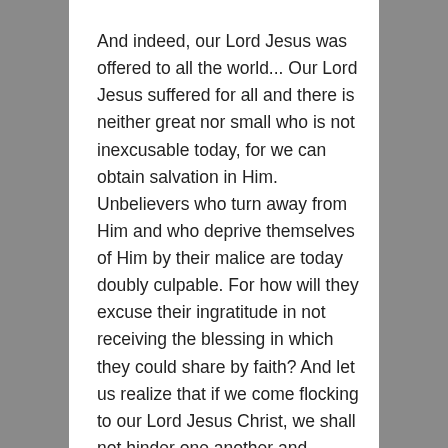And indeed, our Lord Jesus was offered to all the world... Our Lord Jesus suffered for all and there is neither great nor small who is not inexcusable today, for we can obtain salvation in Him. Unbelievers who turn away from Him and who deprive themselves of Him by their malice are today doubly culpable. For how will they excuse their ingratitude in not receiving the blessing in which they could share by faith? And let us realize that if we come flocking to our Lord Jesus Christ, we shall not hinder one another and prevent Him being sufficient for each of us... Let us not fear to come to Him in great numbers, and each one of us bring his neighbours,